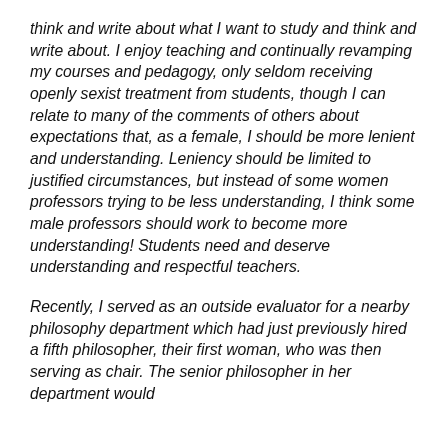think and write about what I want to study and think and write about. I enjoy teaching and continually revamping my courses and pedagogy, only seldom receiving openly sexist treatment from students, though I can relate to many of the comments of others about expectations that, as a female, I should be more lenient and understanding. Leniency should be limited to justified circumstances, but instead of some women professors trying to be less understanding, I think some male professors should work to become more understanding! Students need and deserve understanding and respectful teachers.
Recently, I served as an outside evaluator for a nearby philosophy department which had just previously hired a fifth philosopher, their first woman, who was then serving as chair. The senior philosopher in her department would not use footnotes, their "fifth member" on the advising